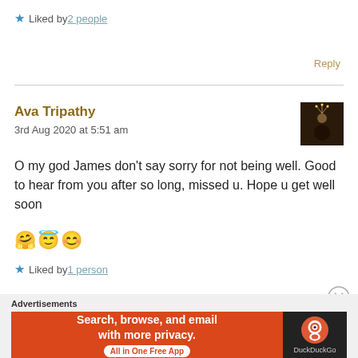★ Liked by 2 people
Reply
Ava Tripathy
3rd Aug 2020 at 5:51 am
O my god James don't say sorry for not being well. Good to hear from you after so long, missed u. Hope u get well soon 🤗😇😊
★ Liked by 1 person
Advertisements
Search, browse, and email with more privacy. All in One Free App DuckDuckGo